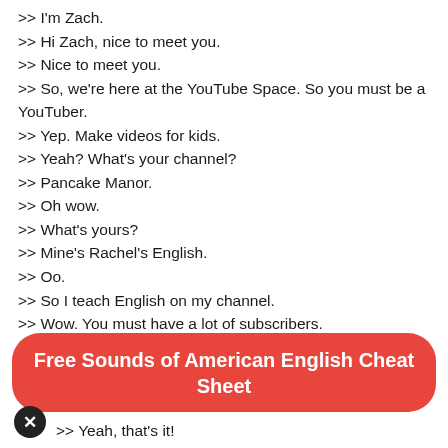>> I'm Zach.
>> Hi Zach, nice to meet you.
>> Nice to meet you.
>> So, we're here at the YouTube Space. So you must be a YouTuber.
>> Yep. Make videos for kids.
>> Yeah? What's your channel?
>> Pancake Manor.
>> Oh wow.
>> What's yours?
>> Mine's Rachel's English.
>> Oo.
>> So I teach English on my channel.
>> Wow. You must have a lot of subscribers.
>> I do, I do. But actually, let's talk about that word. It's subscribers, with an R.
>> Oh. Subscribers.
[Figure (other): Red rounded rectangle banner with white bold text reading 'Free Sounds of American English Cheat Sheet']
>> Yeah, that's it!